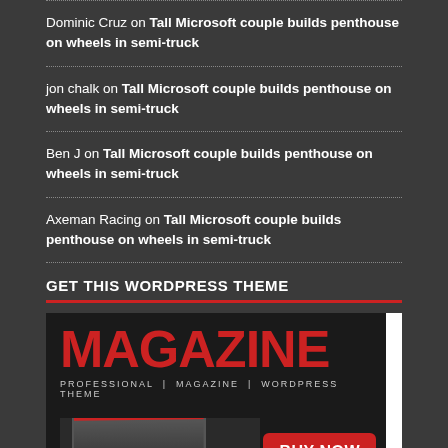Dominic Cruz on Tall Microsoft couple builds penthouse on wheels in semi-truck
jon chalk on Tall Microsoft couple builds penthouse on wheels in semi-truck
Ben J on Tall Microsoft couple builds penthouse on wheels in semi-truck
Axeman Racing on Tall Microsoft couple builds penthouse on wheels in semi-truck
GET THIS WORDPRESS THEME
[Figure (illustration): Magazine WordPress theme advertisement showing large red MAGAZINE text, subtitle PROFESSIONAL | MAGAZINE | WORDPRESS THEME, devices mockup, and a BUY NOW button]